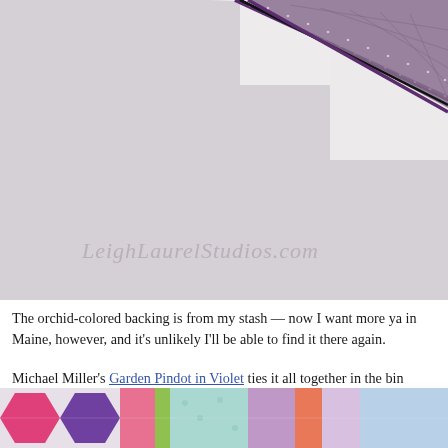[Figure (photo): Close-up photo of a quilt folded to show orchid/purple backing fabric and white patterned front, with a purple polka-dot binding. Watermark reads 'LeighLaurelStudios.com' in cursive.]
The orchid-colored backing is from my stash — now I want more ya in Maine, however, and it's unlikely I'll be able to find it there again.
Michael Miller's Garden Pindot in Violet ties it all together in the bin
[Figure (photo): Bottom strip of quilt photo showing colorful patchwork pieces in pink, purple, teal and other colors.]